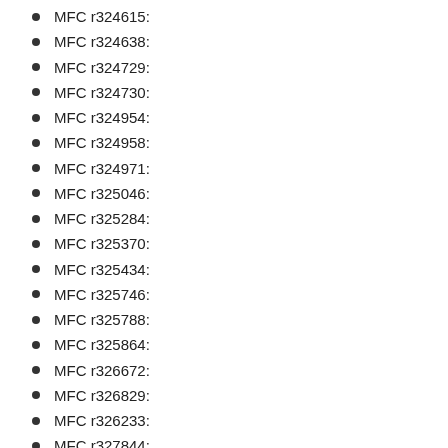MFC r324615:
MFC r324638:
MFC r324729:
MFC r324730:
MFC r324954:
MFC r324958:
MFC r324971:
MFC r325046:
MFC r325284:
MFC r325370:
MFC r325434:
MFC r325746:
MFC r325788:
MFC r325864:
MFC r326672:
MFC r326829:
MFC r326233:
MFC r327844:
MFC r328028:
MFC r328066:
MFC r328477:
MFC r328478:
MFC r328488:
MFC r331061:
MFC r327919:
MFC r327...